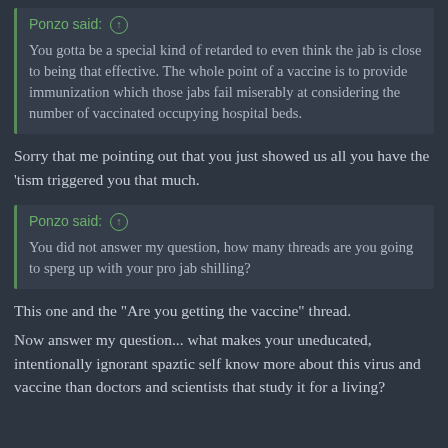Ponzo said: ↑
You gotta be a special kind of retarded to even think the jab is close to being that effective. The whole point of a vaccine is to provide immunization which those jabs fail miserably at considering the number of vaccinated occupying hospital beds.
Sorry that me pointing out that you just showed us all you have the 'tism triggered you that much.
Ponzo said: ↑
You did not answer my question, how many threads are you going to sperg up with your pro jab shilling?
This one and the "Are you getting the vaccine" thread.
Now answer my question... what makes your uneducated, intentionally ignorant spaztic self know more about this virus and vaccine than doctors and scientists that study it for a living?